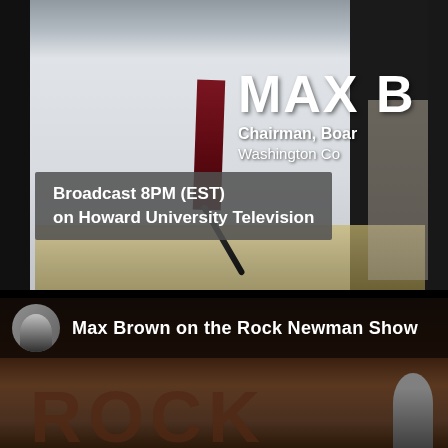[Figure (photo): Man in white shirt and dark red tie sitting at a desk with papers, photographed from upper body. Partially cropped name overlay reads 'MAX B' with title 'Chairman, Boar' and 'Washington Co'.]
MAX B
Chairman, Boar
Washington Co
Broadcast 8PM (EST)
on Howard University Television
[Figure (screenshot): Thumbnail strip showing an older man's avatar and the label 'Max Brown on the Rock Newman Show', followed by a blurred background with large text 'ROCK' and a silhouette figure on the right.]
Max Brown on the Rock Newman Show